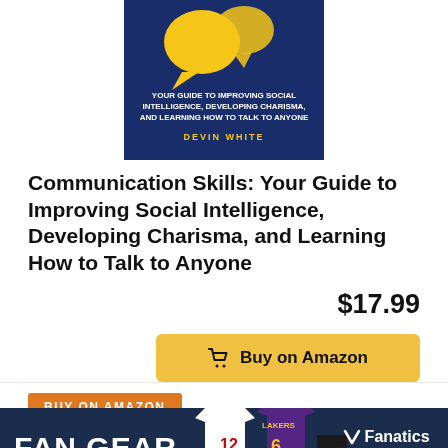[Figure (illustration): Book cover for 'Communication Skills' by Devin White, dark blue background with yellow speech bubble icons]
Communication Skills: Your Guide to Improving Social Intelligence, Developing Charisma, and Learning How to Talk to Anyone
$17.99
Buy on Amazon
BUY ON AMAZON
[Figure (photo): Fanatics sports merchandise advertisement banner showing jerseys and hats for various sports teams. Features 'FAN GEAR' text, Fanatics logo, and 'SHOP NOW' button.]